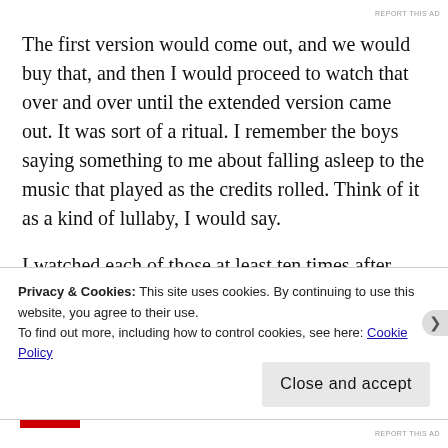REPORT THIS AD
The first version would come out, and we would buy that, and then I would proceed to watch that over and over until the extended version came out. It was sort of a ritual. I remember the boys saying something to me about falling asleep to the music that played as the credits rolled. Think of it as a kind of lullaby, I would say.
I watched each of those at least ten times after they came out. My friend Rebecca would say, “What did you do last night?” And I would get that goofy smile, and she would
Privacy & Cookies: This site uses cookies. By continuing to use this website, you agree to their use.
To find out more, including how to control cookies, see here: Cookie Policy
[Close and accept]
REPORT THIS AD